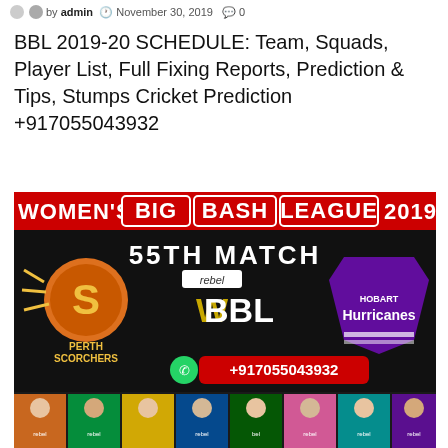by admin  November 30, 2019  0
BBL 2019-20 SCHEDULE: Team, Squads, Player List, Full Fixing Reports, Prediction & Tips, Stumps Cricket Prediction +917055043932
[Figure (illustration): Women's Big Bash League 2019 promotional banner showing 55th Match between Perth Scorchers and Hobart Hurricanes with contact number +917055043932, featuring team logos and player photos]